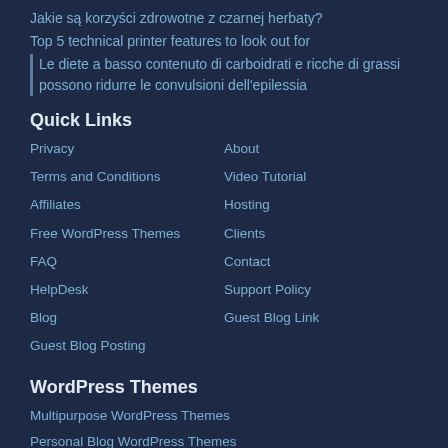Jakie są korzyści zdrowotne z czarnej herbaty?
Top 5 technical printer features to look out for
Le diete a basso contenuto di carboidrati e ricche di grassi possono ridurre le convulsioni dell'epilessia
Quick Links
Privacy
About
Terms and Conditions
Video Tutorial
Affiliates
Hosting
Free WordPress Themes
Clients
FAQ
Contact
HelpDesk
Support Policy
Blog
Guest Blog Link
Guest Blog Posting
WordPress Themes
Multipurpose WordPress Themes
Personal Blog WordPress Themes
Magazine WordPress Themes